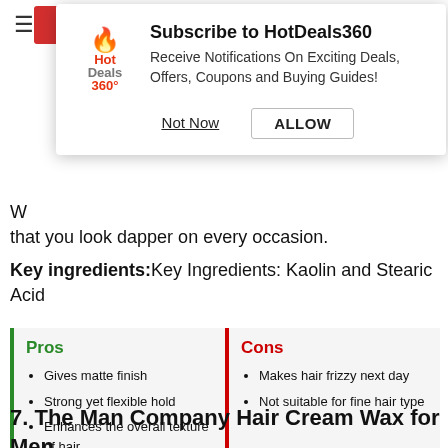[Figure (screenshot): HotDeals360 subscription popup notification dialog with logo, title 'Subscribe to HotDeals360', body text, and two buttons: 'Not Now' and 'ALLOW']
that you look dapper on every occasion.
Key ingredients: Key Ingredients: Kaolin and Stearic Acid
Gives matte finish
Strong yet flexible hold
Enhances the overall texture of hair
Makes hair frizzy next day
Not suitable for fine hair type
7. The Man Company Hair Cream Wax for Men